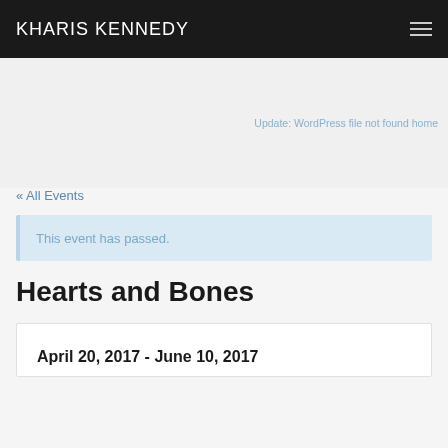KHARIS KENNEDY
Update: WordPress file not found home
« All Events
This event has passed.
Hearts and Bones
April 20, 2017 - June 10, 2017